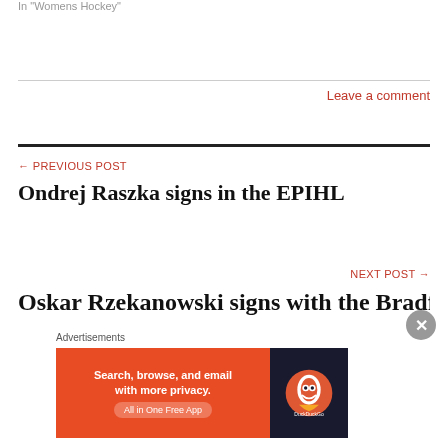In "Womens Hockey"
Leave a comment
← PREVIOUS POST
Ondrej Raszka signs in the EPIHL
NEXT POST →
Oskar Rzekanowski signs with the Bradford
Advertisements
[Figure (other): DuckDuckGo advertisement banner: Search, browse, and email with more privacy. All in One Free App]